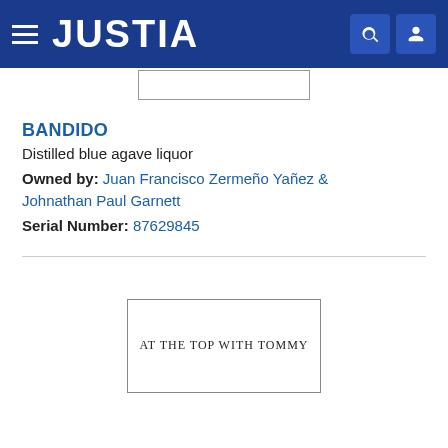JUSTIA
BANDIDO
Distilled blue agave liquor
Owned by: Juan Francisco Zermeño Yañez & Johnathan Paul Garnett
Serial Number: 87629845
[Figure (other): Trademark image box containing text AT THE TOP WITH TOMMY]